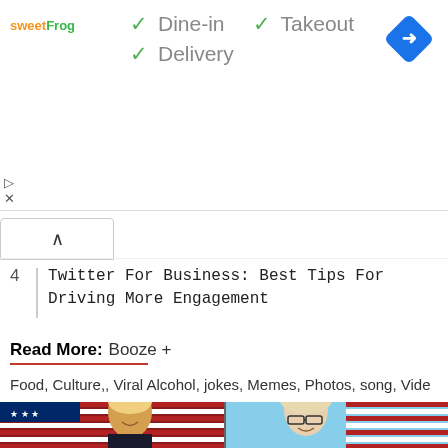[Figure (screenshot): Ad banner: sweetFrog logo on left, checkmarks for Dine-in, Takeout, Delivery in center, blue navigation diamond icon on right]
4  Twitter For Business: Best Tips For Driving More Engagement
Read More:  Booze +
Food, Culture,, Viral Alcohol, jokes, Memes, Photos, song, Vide
[Figure (photo): Two portrait photos side by side: left shows a smiling man in front of American flag, right shows a woman with glasses smiling in front of American flag]